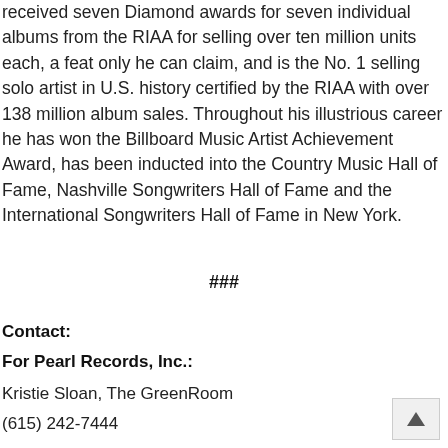received seven Diamond awards for seven individual albums from the RIAA for selling over ten million units each, a feat only he can claim, and is the No. 1 selling solo artist in U.S. history certified by the RIAA with over 138 million album sales. Throughout his illustrious career he has won the Billboard Music Artist Achievement Award, has been inducted into the Country Music Hall of Fame, Nashville Songwriters Hall of Fame and the International Songwriters Hall of Fame in New York.
###
Contact:
For Pearl Records, Inc.:
Kristie Sloan, The GreenRoom
(615) 242-7444